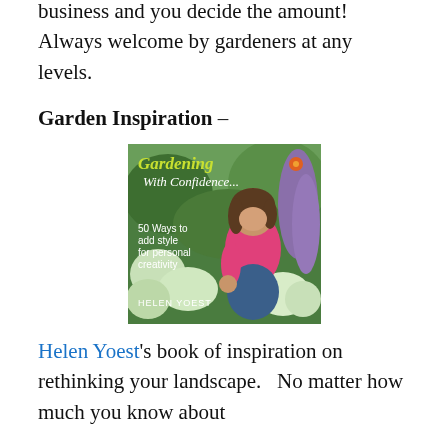business and you decide the amount!   Always welcome by gardeners at any levels.
Garden Inspiration –
[Figure (photo): Book cover of 'Gardening With Confidence... 50 Ways to add style for personal creativity' by Helen Yoest, showing a woman in a pink top crouching in a garden.]
Helen Yoest's book of inspiration on rethinking your landscape.   No matter how much you know about